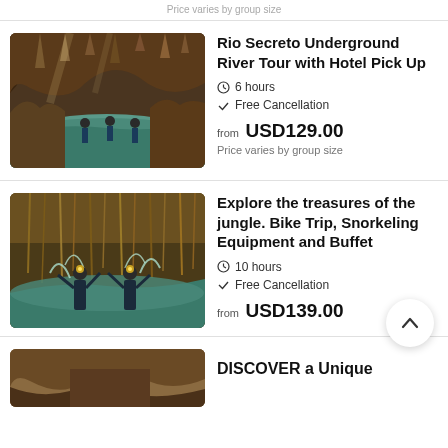Price varies by group size
[Figure (photo): Cave with underground river, stalactites, people wading in turquoise water]
Rio Secreto Underground River Tour with Hotel Pick Up
6 hours
Free Cancellation
from USD129.00
Price varies by group size
[Figure (photo): Two people in helmets splashing in underground cenote with jungle vines]
Explore the treasures of the jungle. Bike Trip, Snorkeling Equipment and Buffet
10 hours
Free Cancellation
from USD139.00
[Figure (photo): Cave entrance with rocky formations]
DISCOVER a Unique